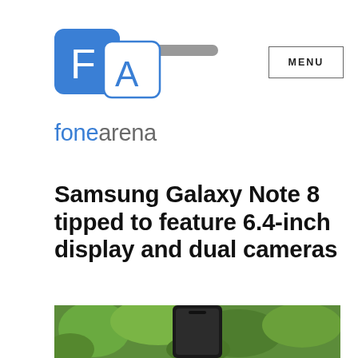[Figure (logo): FoneArena logo: blue square with white F and white A letters, with a gray horizontal bar extending to the right]
MENU
fonearena
Samsung Galaxy Note 8 tipped to feature 6.4-inch display and dual cameras
[Figure (photo): Bottom portion of a smartphone against a green leafy background]